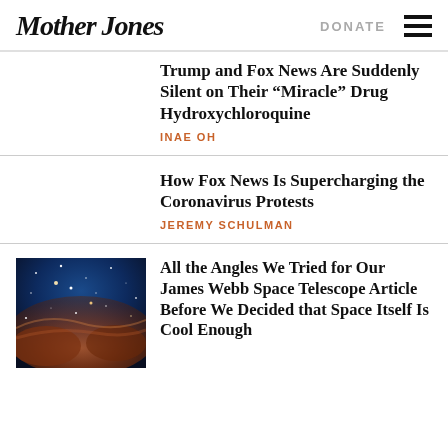Mother Jones | DONATE
Trump and Fox News Are Suddenly Silent on Their “Miracle” Drug Hydroxychloroquine
INAE OH
How Fox News Is Supercharging the Coronavirus Protests
JEREMY SCHULMAN
[Figure (photo): Space nebula / James Webb Space Telescope image showing stars and cosmic clouds in blue and orange hues]
All the Angles We Tried for Our James Webb Space Telescope Article Before We Decided that Space Itself Is Cool Enough